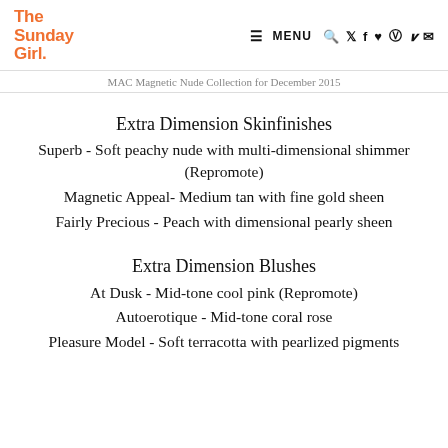The Sunday Girl. MENU
MAC Magnetic Nude Collection for December 2015
Extra Dimension Skinfinishes
Superb - Soft peachy nude with multi-dimensional shimmer (Repromote)
Magnetic Appeal- Medium tan with fine gold sheen
Fairly Precious - Peach with dimensional pearly sheen
Extra Dimension Blushes
At Dusk - Mid-tone cool pink (Repromote)
Autoerotique - Mid-tone coral rose
Pleasure Model - Soft terracotta with pearlized pigments